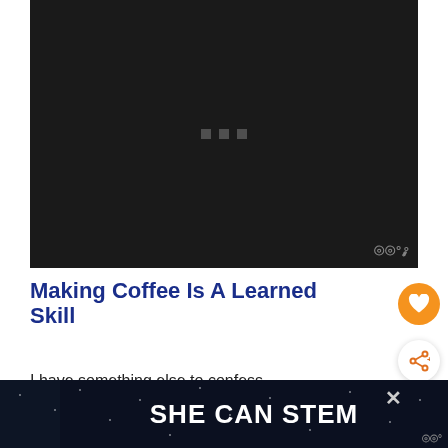[Figure (screenshot): Dark video player area with three small grey dots in the center indicating loading, and a small watermark logo in the bottom right corner]
Making Coffee Is A Learned Skill
I have something else to confess.
[Figure (advertisement): Dark navy advertisement banner reading SHE CAN STEM with a close X button and a small logo watermark]